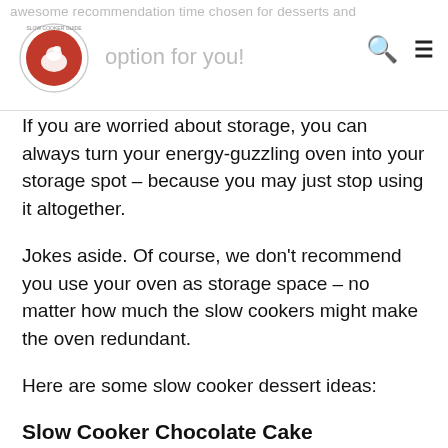awesome recommendation time chosen for desserts and option for you!
If you are worried about storage, you can always turn your energy-guzzling oven into your storage spot – because you may just stop using it altogether.
Jokes aside. Of course, we don't recommend you use your oven as storage space – no matter how much the slow cookers might make the oven redundant.
Here are some slow cooker dessert ideas:
Slow Cooker Chocolate Cake
The beauty about making chocolate cake in the slow cooker is that you can serve it up warm and easy...